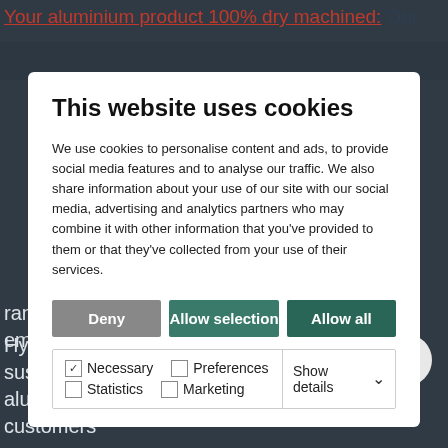Your aluminium product 100% dry machined: Our f...
This website uses cookies
We use cookies to personalise content and ads, to provide social media features and to analyse our traffic. We also share information about your use of our site with our social media, advertising and analytics partners who may combine it with other information that you've provided to them or that they've collected from your use of their services.
Deny | Allow selection | Allow all
Necessary  Preferences  Statistics  Marketing  Show details
range is made of aluminium with lower carbon emissions.
Hydro Nenzing has been developing more sustainable aluminium solutions in cooperation with our customers